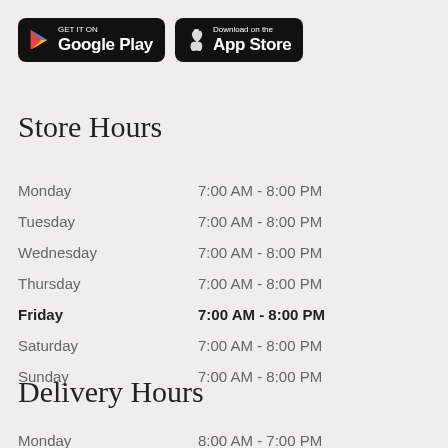[Figure (logo): Google Play store badge - black rounded rectangle with Google Play triangle icon and text 'GET IT ON Google Play']
[Figure (logo): Apple App Store badge - black rounded rectangle with Apple logo icon and text 'Download on the App Store']
Store Hours
| Day | Hours |
| --- | --- |
| Monday | 7:00 AM - 8:00 PM |
| Tuesday | 7:00 AM - 8:00 PM |
| Wednesday | 7:00 AM - 8:00 PM |
| Thursday | 7:00 AM - 8:00 PM |
| Friday | 7:00 AM - 8:00 PM |
| Saturday | 7:00 AM - 8:00 PM |
| Sunday | 7:00 AM - 8:00 PM |
Delivery Hours
Monday    8:00 AM - 7:00 PM